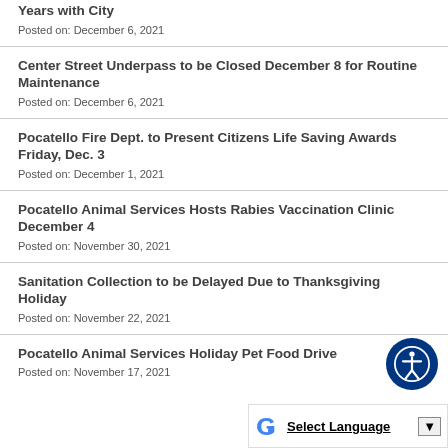Pocatello Fire Chief David G. Gates to Retire After 26 Years with City
Posted on: December 6, 2021
Center Street Underpass to be Closed December 8 for Routine Maintenance
Posted on: December 6, 2021
Pocatello Fire Dept. to Present Citizens Life Saving Awards Friday, Dec. 3
Posted on: December 1, 2021
Pocatello Animal Services Hosts Rabies Vaccination Clinic December 4
Posted on: November 30, 2021
Sanitation Collection to be Delayed Due to Thanksgiving Holiday
Posted on: November 22, 2021
Pocatello Animal Services Holiday Pet Food Drive
Posted on: November 17, 2021